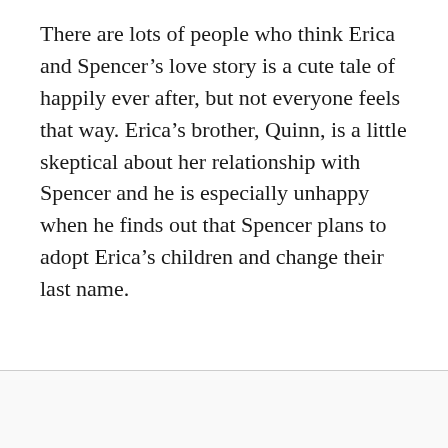There are lots of people who think Erica and Spencer’s love story is a cute tale of happily ever after, but not everyone feels that way. Erica’s brother, Quinn, is a little skeptical about her relationship with Spencer and he is especially unhappy when he finds out that Spencer plans to adopt Erica’s children and change their last name.